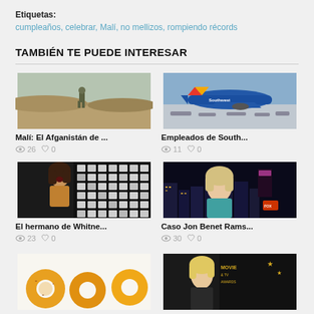Etiquetas:
cumpleaños, celebrar, Malí, no mellizos, rompiendo récords
TAMBIÉN TE PUEDE INTERESAR
[Figure (photo): Soldier walking in desert landscape in Mali]
Malí: El Afganistán de ...
👁 26  ♡ 0
[Figure (photo): Southwest Airlines airplane on tarmac with other planes lined up]
Empleados de South...
👁 11  ♡ 0
[Figure (photo): Whitney Houston performing on stage with bright lights behind her]
El hermano de Whitne...
👁 23  ♡ 0
[Figure (photo): Blonde woman in teal top on Fox News set with city skyline at night]
Caso Jon Benet Rams...
👁 30  ♡ 0
[Figure (photo): Golden fried donuts on white surface]
[Figure (photo): Blonde woman at Movie and TV awards event]